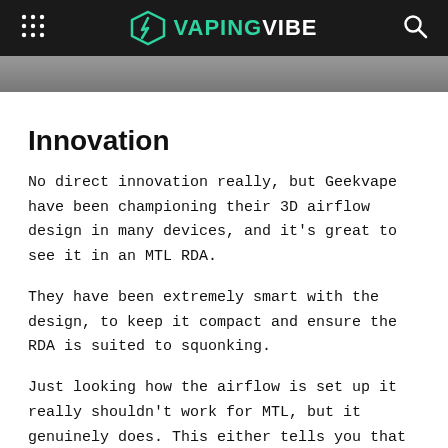VAPINGVIBE
[Figure (photo): Partial image strip visible at top of content area, grayscale photo cropped]
Innovation
No direct innovation really, but Geekvape have been championing their 3D airflow design in many devices, and it's great to see it in an MTL RDA.
They have been extremely smart with the design, to keep it compact and ensure the RDA is suited to squonking.
Just looking how the airflow is set up it really shouldn't work for MTL, but it genuinely does. This either tells you that I know nothing about